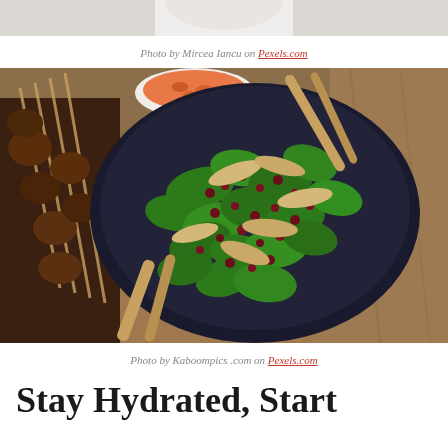[Figure (photo): Top portion of a food photo partially visible at top of page — appears to show a white bowl or plate on a light background]
Photo by Mircea Iancu on Pexels.com
[Figure (photo): Overhead view of a large dark bowl filled with fresh green spinach salad topped with pomegranate seeds and sliced chicken, with wooden serving utensils. Beside the bowl is a small white bowl of orange sauce/dip and skewered meat on the left. The bowl sits on a wooden board.]
Photo by Kaboompics .com on Pexels.com
Stay Hydrated, Start